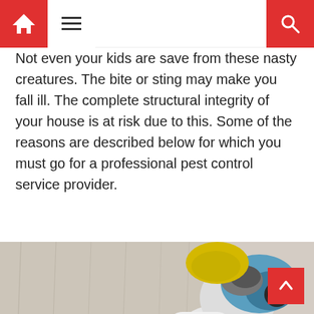Navigation bar with home, menu, and search icons
Not even your kids are save from these nasty creatures. The bite or sting may make you fall ill. The complete structural integrity of your house is at risk due to this. Some of the reasons are described below for which you must go for a professional pest control service provider.
[Figure (photo): A pest control worker in a white protective suit and blue respirator mask, holding a white pressurized spray tank with yellow gloves, performing pest control treatment.]